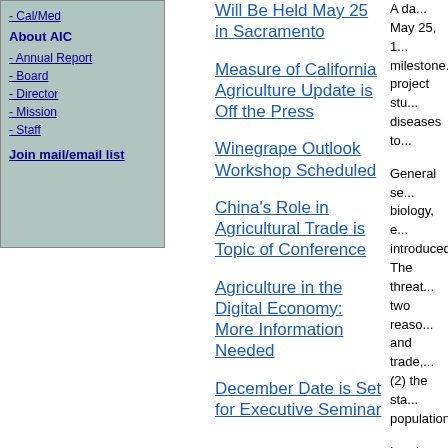- Cal/Med
About AIC
- Annual Report
- Board
- Director
- Mission
- Staff
Join mail/email list
Will Be Held May 25 in Sacramento
Measure of California Agriculture Update is Off the Press
Winegrape Outlook Workshop Scheduled
China's Role in Agricultural Trade is Topic of Conference
Agriculture in the Digital Economy: More Information Needed
December Date is Set for Executive Seminar
A da... May 25, 1... milestone... project stu... diseases to...
General se... biology, e... introduced... The threat... two reaso... and trade,... (2) the sta... population...
Leaders of... threats to C... even huma... foot-and-m... to citrus ca... case studie... sessions. S... from the U... and groups... experts...